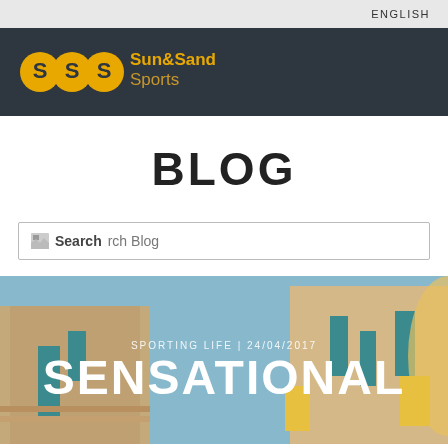ENGLISH
[Figure (logo): Sun&Sand Sports logo with SSS icon in gold/yellow on dark background]
BLOG
Search Blog
[Figure (photo): Exterior photograph of a modern building with blue sky, teal-colored doors/windows, and yellow branding elements. Overlaid text: SPORTING LIFE | 24/04/2017 and SENSATIONAL]
SPORTING LIFE | 24/04/2017
SENSATIONAL